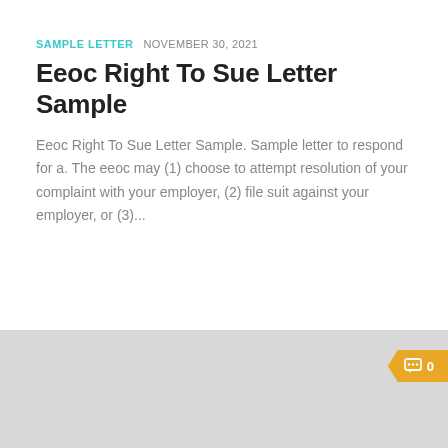SAMPLE LETTER  NOVEMBER 30, 2021
Eeoc Right To Sue Letter Sample
Eeoc Right To Sue Letter Sample. Sample letter to respond for a. The eeoc may (1) choose to attempt resolution of your complaint with your employer, (2) file suit against your employer, or (3)...
[Figure (other): Gray thumbnail image area with an orange comment badge showing '0' comment count with a speech bubble icon]